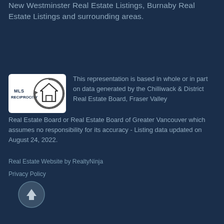New Westminster Real Estate Listings, Burnaby Real Estate Listings and surrounding areas.
[Figure (logo): MLS Reciprocity logo — circular house icon with MLS RECIPROCITY text on white rounded rectangle background]
This representation is based in whole or in part on data generated by the Chilliwack & District Real Estate Board, Fraser Valley Real Estate Board or Real Estate Board of Greater Vancouver which assumes no responsibility for its accuracy - Listing data updated on August 24, 2022.
Real Estate Website by RealtyNinja
Privacy Policy
[Figure (illustration): Circular scroll-to-top button with upward arrow, dark navy border on dark navy background]